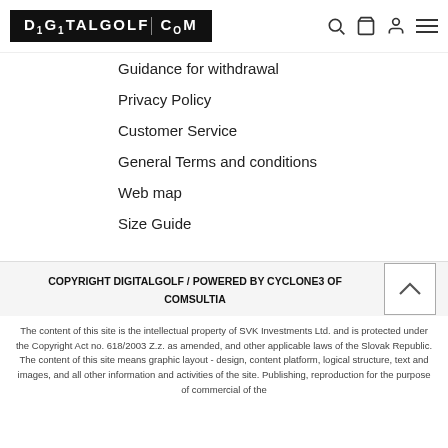DIGITALGOLF | COM [logo] [search] [cart] [account] [menu]
Guidance for withdrawal
Privacy Policy
Customer Service
General Terms and conditions
Web map
Size Guide
COPYRIGHT DIGITALGOLF / POWERED BY CYCLONE3 OF COMSULTIA
The content of this site is the intellectual property of SVK Investments Ltd. and is protected under the Copyright Act no. 618/2003 Z.z. as amended, and other applicable laws of the Slovak Republic. The content of this site means graphic layout - design, content platform, logical structure, text and images, and all other information and activities of the site. Publishing, reproduction for the purpose of commercial of the